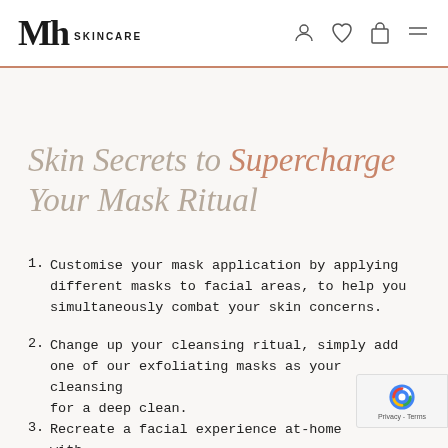Mh SKINCARE
Skin Secrets to Supercharge Your Mask Ritual
Customise your mask application by applying different masks to facial areas, to help you simultaneously combat your skin concerns.
Change up your cleansing ritual, simply add one of our exfoliating masks as your cleansing for a deep clean.
Recreate a facial experience at-home with…